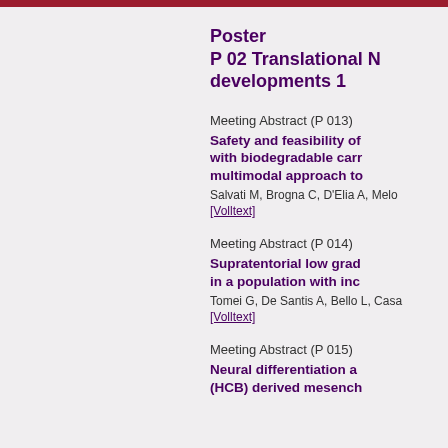Poster
P 02 Translational N...
developments 1
Meeting Abstract (P 013)
Safety and feasibility of... with biodegradable carr... multimodal approach to...
Salvati M, Brogna C, D'Elia A, Melo...
[Volltext]
Meeting Abstract (P 014)
Supratentorial low grad... in a population with inc...
Tomei G, De Santis A, Bello L, Casa...
[Volltext]
Meeting Abstract (P 015)
Neural differentiation a... (HCB) derived mesench...